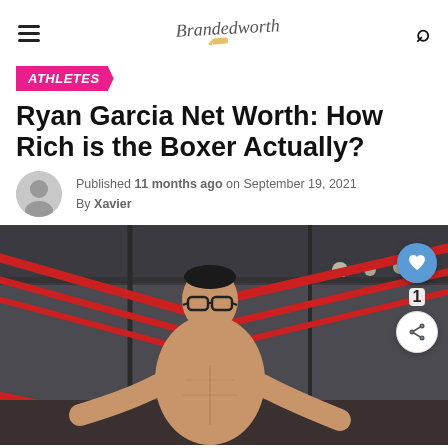Brandedworth (logo)
ATHLETES
Ryan Garcia Net Worth: How Rich is the Boxer Actually?
Published 11 months ago on September 19, 2021
By Xavier
[Figure (photo): Ryan Garcia shirtless in a boxing gym, leaning on the ring ropes, wearing glasses, with red boxing ring ropes visible in the background]